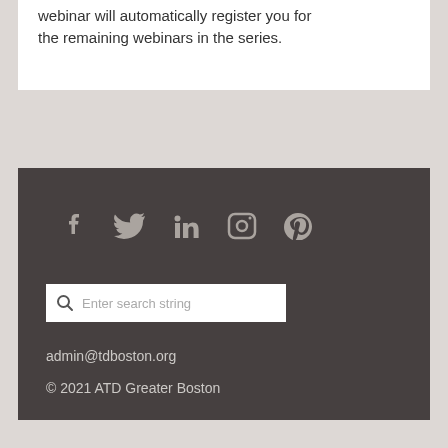webinar will automatically register you for the remaining webinars in the series.
[Figure (infographic): Social media icons: Facebook, Twitter, LinkedIn, Instagram, Pinterest displayed in a row on dark footer background]
[Figure (screenshot): Search input bar with magnifying glass icon and placeholder text 'Enter search string']
admin@tdboston.org
© 2021 ATD Greater Boston